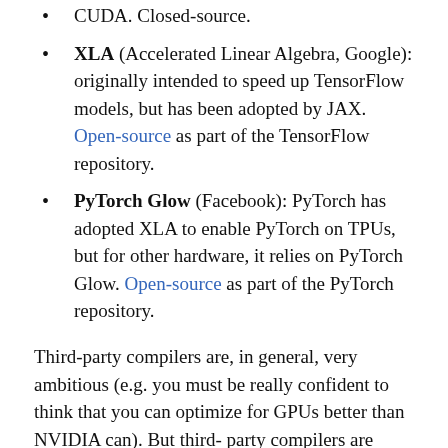CUDA. Closed-source.
XLA (Accelerated Linear Algebra, Google): originally intended to speed up TensorFlow models, but has been adopted by JAX. Open-source as part of the TensorFlow repository.
PyTorch Glow (Facebook): PyTorch has adopted XLA to enable PyTorch on TPUs, but for other hardware, it relies on PyTorch Glow. Open-source as part of the PyTorch repository.
Third-party compilers are, in general, very ambitious (e.g. you must be really confident to think that you can optimize for GPUs better than NVIDIA can). But third-party compilers are important as they help lower the overhead in making new frameworks, new hardware generations, new models performant, giving small players a chance to compete with established players who have their own compilers heavily tuned for their existing products.